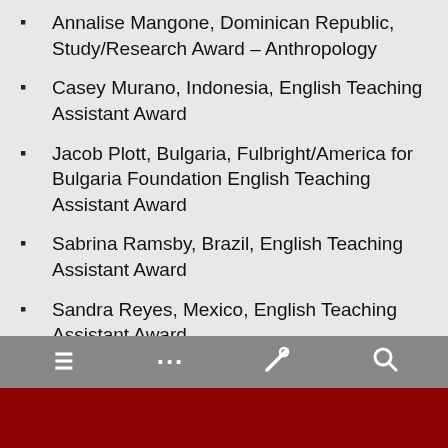Annalise Mangone, Dominican Republic, Study/Research Award – Anthropology
Casey Murano, Indonesia, English Teaching Assistant Award
Jacob Plott, Bulgaria, Fulbright/America for Bulgaria Foundation English Teaching Assistant Award
Sabrina Ramsby, Brazil, English Teaching Assistant Award
Sandra Reyes, Mexico, English Teaching Assistant Award
Jajsani Roane, Netherlands, English Teaching Assistant Award
Virginia Sun, Mexico, English Teaching Assistant